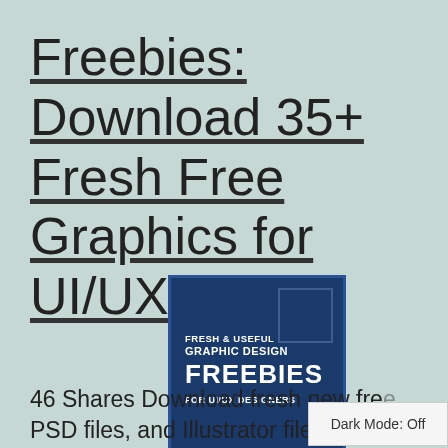Freebies: Download 35+ Fresh Free Graphics for UI/UX
[Figure (illustration): Dark blue banner graphic with text: FRESH & USEFUL GRAPHIC DESIGN FREEBIES FOR UI/UX DESIGNERS]
46 Shares Download fresh new fre... PSD files, and Illustrator files for ...